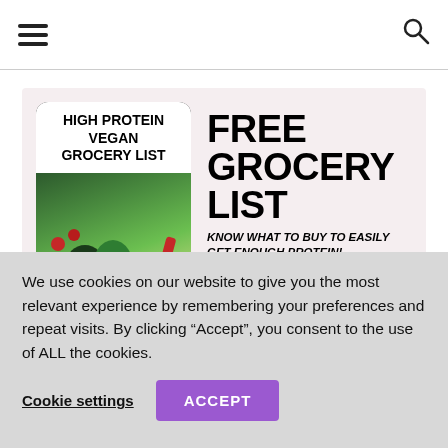Navigation header with hamburger menu and search icon
[Figure (infographic): Promotional banner for a free high protein vegan grocery list. Left side shows a phone/tablet screen with the text 'HIGH PROTEIN VEGAN GROCERY LIST' and an image of vegan foods (avocado, greens, cherries, peppers). Right side shows text: 'FREE GROCERY LIST' in large bold font, 'KNOW WHAT TO BUY TO EASILY GET ENOUGH PROTEIN!' in italic bold, and a yellow call-to-action button.]
We use cookies on our website to give you the most relevant experience by remembering your preferences and repeat visits. By clicking “Accept”, you consent to the use of ALL the cookies.
Cookie settings   ACCEPT